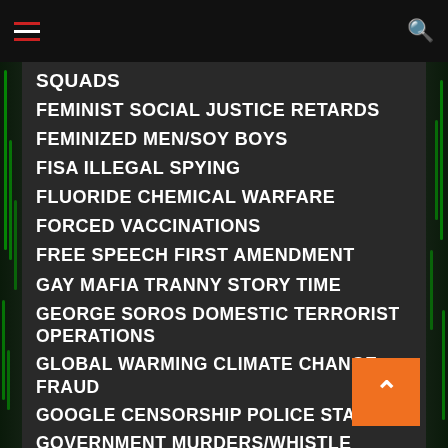Navigation bar with hamburger menu and search icon
SQUADS
FEMINIST SOCIAL JUSTICE RETARDS
FEMINIZED MEN/SOY BOYS
FISA ILLEGAL SPYING
FLUORIDE CHEMICAL WARFARE
FORCED VACCINATIONS
FREE SPEECH FIRST AMENDMENT
GAY MAFIA TRANNY STORY TIME
GEORGE SOROS DOMESTIC TERRORIST OPERATIONS
GLOBAL WARMING CLIMATE CHANGE FRAUD
GOOGLE CENSORSHIP POLICE STATE
GOVERNMENT MURDERS/WHISTLE BLOWER
GUN GRABBERS EXPOSED
HAARP WEATHER WEAPONS
HIDDEN HISTORY